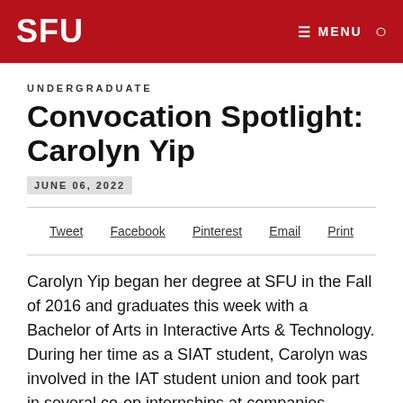SFU | ≡ MENU 🔍
UNDERGRADUATE
Convocation Spotlight: Carolyn Yip
JUNE 06, 2022
Tweet  Facebook  Pinterest  Email  Print
Carolyn Yip began her degree at SFU in the Fall of 2016 and graduates this week with a Bachelor of Arts in Interactive Arts & Technology. During her time as a SIAT student, Carolyn was involved in the IAT student union and took part in several co-op internships at companies